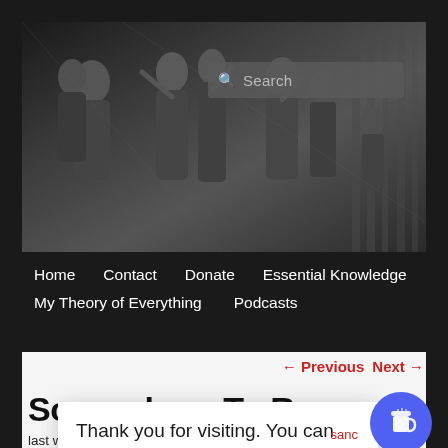[Figure (photo): Black and white classical painting/illustration showing multiple figures in a scene, used as website header banner image with a search box overlay]
Home   Contact   Donate   Essential Knowledge   My Theory of Everything   Podcasts
← Previous   Next →
Somewhere To Run
Thank you for visiting. You can now buy me a coffee!
sanc
last week, was that there is no where for the race aware